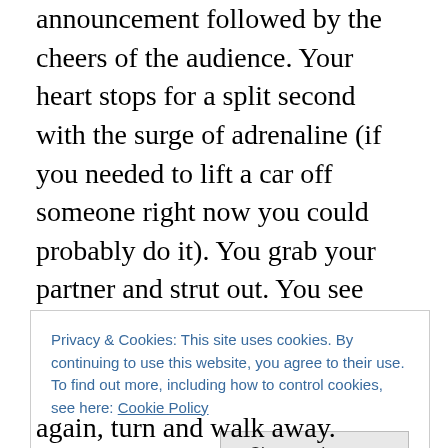announcement followed by the cheers of the audience. Your heart stops for a split second with the surge of adrenaline (if you needed to lift a car off someone right now you could probably do it). You grab your partner and strut out. You see lights and camera flashes but you don't see a single person in the audience, you have more important things to focus on. You move into position and grasp your partner as you've done what seems like a thousand times before… but this time is different! This time is real!
Everything goes quiet. Ominously so. You center yourself.
Privacy & Cookies: This site uses cookies. By continuing to use this website, you agree to their use.
To find out more, including how to control cookies, see here: Cookie Policy
again, turn and walk away.